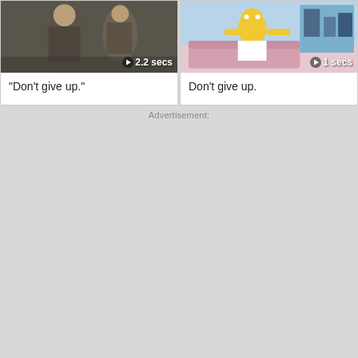[Figure (screenshot): Video thumbnail showing a live-action scene with people, dark/muted tones. Duration label: play icon + '2.2 secs']
"Don't give up."
[Figure (screenshot): Video thumbnail showing an animated/cartoon scene with colorful illustrated characters in a room. Duration label: play icon + '1 secs']
Don't give up.
Advertisement: